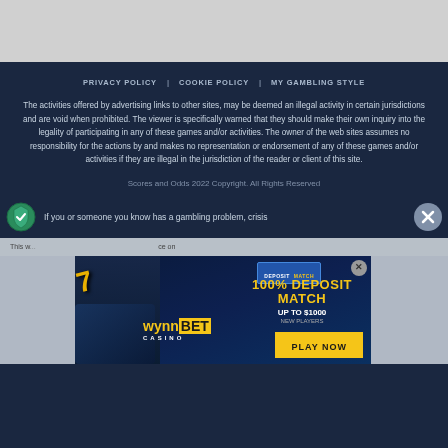PRIVACY POLICY   COOKIE POLICY   MY GAMBLING STYLE
The activities offered by advertising links to other sites, may be deemed an illegal activity in certain jurisdictions and are void when prohibited. The viewer is specifically warned that they should make their own inquiry into the legality of participating in any of these games and/or activities. The owner of the web sites assumes no responsibility for the actions by and makes no representation or endorsement of any of these games and/or activities if they are illegal in the jurisdiction of the reader or client of this site.
Scores and Odds 2022 Copyright. All Rights Reserved
If you or someone you know has a gambling problem, crisis
This w... ...ce on
[Figure (screenshot): WynnBet Casino advertisement banner showing '100% DEPOSIT MATCH UP TO $1000 NEW PLAYERS PLAY NOW' with casino imagery including slot machine 7s and poker chips. Has a close X button in top right. Logo shows DEPOSIT MATCH badge and WYNNBET CASINO branding.]